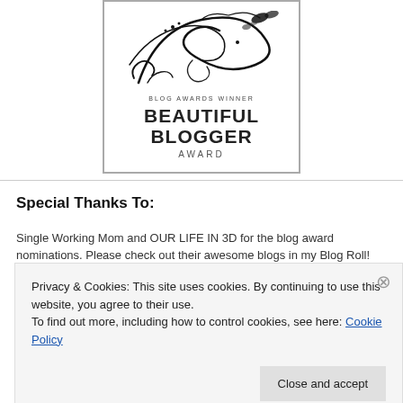[Figure (illustration): Beautiful Blogger Award badge with decorative swirl/butterfly design at top, text 'BLOG AWARDS WINNER', 'BEAUTIFUL BLOGGER', 'AWARD']
Special Thanks To:
Single Working Mom and OUR LIFE IN 3D for the blog award nominations. Please check out their awesome blogs in my Blog Roll!
Privacy & Cookies: This site uses cookies. By continuing to use this website, you agree to their use.
To find out more, including how to control cookies, see here: Cookie Policy
Close and accept